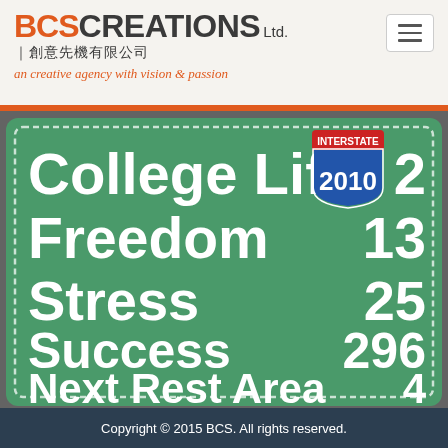BCS CREATIONS Ltd. | 創意先機有限公司 — an creative agency with vision & passion
[Figure (infographic): Green highway-style road sign with dashed white border showing College Life 2, Freedom 13, Stress 25, Success 296, Next Rest Area 4, with an INTERSTATE 2010 shield badge in the top right corner]
Copyright © 2015 BCS. All rights reserved.